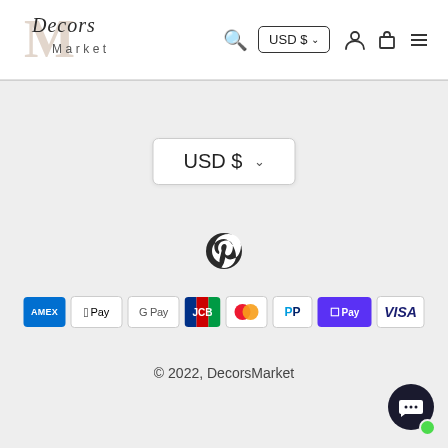[Figure (logo): DecorsMarket logo with stylized script text and large M lettermark]
[Figure (screenshot): Header navigation with search icon, USD $ currency selector button, user account icon, cart icon, and hamburger menu icon]
[Figure (screenshot): USD $ currency dropdown selector button in gray section]
[Figure (logo): Pinterest circular icon (dark)]
[Figure (infographic): Payment method icons: American Express, Apple Pay, Google Pay, JCB, Mastercard, PayPal, Shop Pay, Visa]
© 2022, DecorsMarket
[Figure (illustration): Chat support button (dark circle with chat bubble icon) with green online status dot]